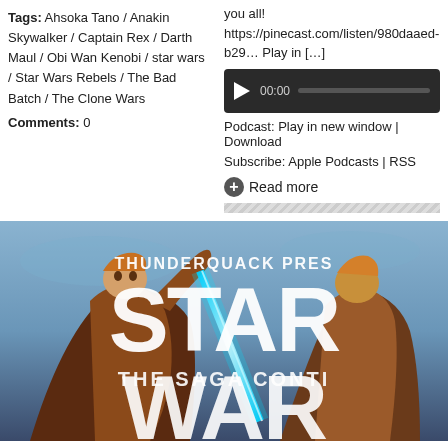Tags: Ahsoka Tano / Anakin Skywalker / Captain Rex / Darth Maul / Obi Wan Kenobi / star wars / Star Wars Rebels / The Bad Batch / The Clone Wars
Comments: 0
you all! https://pinecast.com/listen/980daaed-b29... Play in […]
[Figure (other): Audio player widget with dark background, play button, timestamp 00:00, and progress bar]
Podcast: Play in new window | Download
Subscribe: Apple Podcasts | RSS
Read more
[Figure (illustration): Animated Star Wars illustration showing characters with lightsabers. Text overlay reads THUNDERQUACK PRES... STAR THE SAGA CONTI... WAR...]